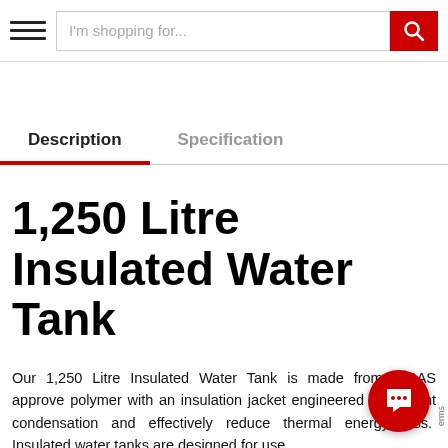I'm shopping for...
Description
Specification
1,250 Litre Insulated Water Tank
Our 1,250 Litre Insulated Water Tank is made from WRAS approve polymer with an insulation jacket engineered to prevent condensation and effectively reduce thermal energy loss.  Insulated water tanks are designed for use